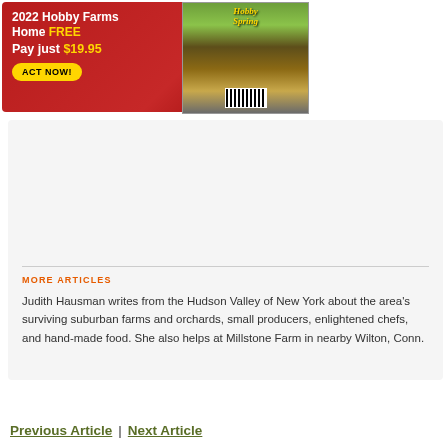[Figure (infographic): Red advertisement banner for 2022 Hobby Farms magazine subscription with yellow 'Home FREE' and '$19.95' text, an 'ACT NOW!' button, and a magazine cover image on the right showing green onions/plants with a barcode]
[Figure (photo): Gray placeholder author avatar showing a silhouette of a person (head and shoulders) on a light gray background]
MORE ARTICLES
Judith Hausman writes from the Hudson Valley of New York about the area's surviving suburban farms and orchards, small producers, enlightened chefs, and hand-made food. She also helps at Millstone Farm in nearby Wilton, Conn.
Previous Article  |  Next Article